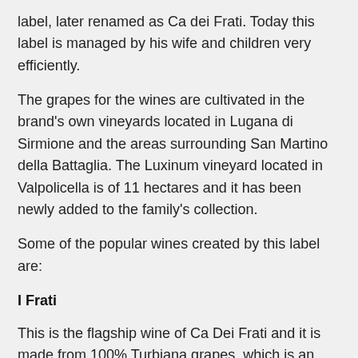label, later renamed as Ca dei Frati. Today this label is managed by his wife and children very efficiently.
The grapes for the wines are cultivated in the brand's own vineyards located in Lugana di Sirmione and the areas surrounding San Martino della Battaglia. The Luxinum vineyard located in Valpolicella is of 11 hectares and it has been newly added to the family's collection.
Some of the popular wines created by this label are:
I Frati
This is the flagship wine of Ca Dei Frati and it is made from 100% Turbiana grapes, which is an indigenous varietal. This wine is known for its fruity/floral accents and rich mineral content. These grapes grow well on limestone-clay soil and are vinified in steel vats. Fine lees are used for fermentation where the wines are allowed to stay on for at least 6 months.
Rosa dei Frati